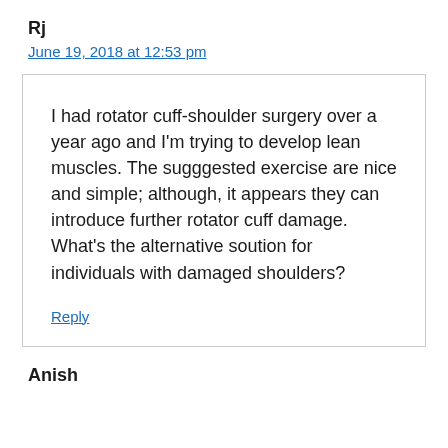Rj
June 19, 2018 at 12:53 pm
I had rotator cuff-shoulder surgery over a year ago and I'm trying to develop lean muscles. The sugggested exercise are nice and simple; although, it appears they can introduce further rotator cuff damage. What's the alternative soution for individuals with damaged shoulders?
Reply
Anish